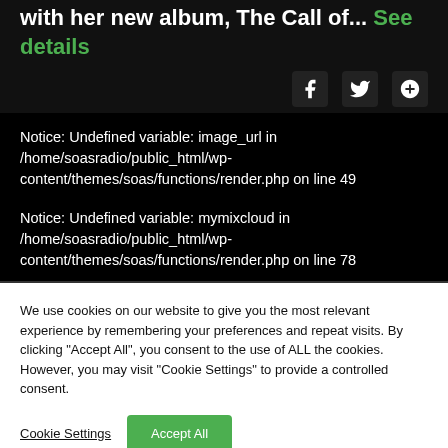with her new album, The Call of... See details
Notice: Undefined variable: image_url in /home/soasradio/public_html/wp-content/themes/soas/functions/render.php on line 49
Notice: Undefined variable: mymixcloud in /home/soasradio/public_html/wp-content/themes/soas/functions/render.php on line 78
We use cookies on our website to give you the most relevant experience by remembering your preferences and repeat visits. By clicking "Accept All", you consent to the use of ALL the cookies. However, you may visit "Cookie Settings" to provide a controlled consent.
Cookie Settings | Accept All